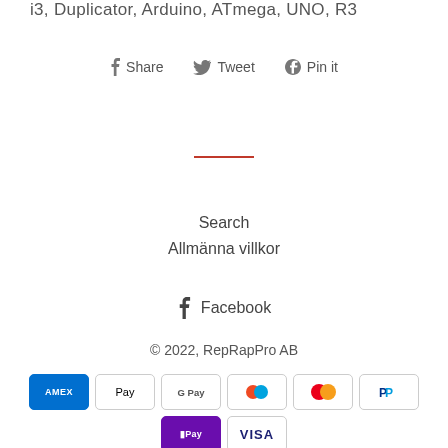i3, Duplicator, Arduino, ATmega, UNO, R3
Share  Tweet  Pin it
Search
Allmänna villkor
Facebook
© 2022, RepRapPro AB
[Figure (other): Payment method icons: American Express, Apple Pay, Google Pay, Maestro, Mastercard, PayPal, Shop Pay, Visa]